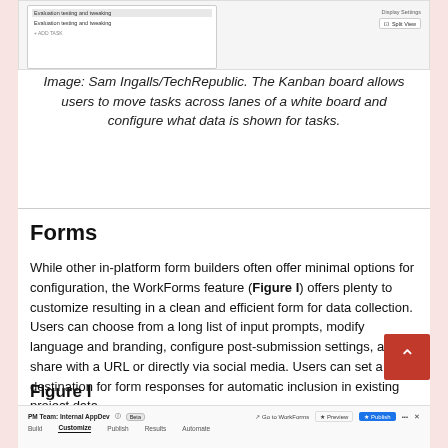[Figure (screenshot): Screenshot of a Kanban board interface showing task list on the left and display settings with Split View option on the right]
Image: Sam Ingalls/TechRepublic. The Kanban board allows users to move tasks across lanes of a white board and configure what data is shown for tasks.
Forms
While other in-platform form builders often offer minimal options for configuration, the WorkForms feature (Figure I) offers plenty to customize resulting in a clean and efficient form for data collection. Users can choose from a long list of input prompts, modify language and branding, configure post-submission settings, and share with a URL or directly via social media. Users can set a destination for form responses for automatic inclusion in existing project data.
Figure I
[Figure (screenshot): Screenshot of PM Team: Internal AppDev WorkForms interface showing Build, Customize, Publish, Results, Automate tabs with Go to WorkForms, Preview, Publish buttons]